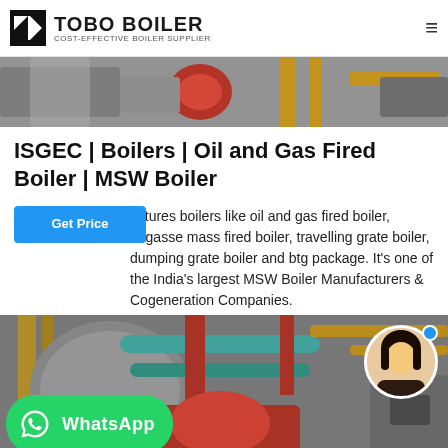TOBO BOILER COST-EFFECTIVE BOILER SUPPLIER
[Figure (photo): Industrial boiler equipment with red burner and yellow/orange piping in a facility]
ISGEC | Boilers | Oil and Gas Fired Boiler | MSW Boiler
...actures boilers like oil and gas fired boiler, bagasse mass fired boiler, travelling grate boiler, dumping grate boiler and btg package. It's one of the India's largest MSW Boiler Manufacturers & Cogeneration Companies.
[Figure (photo): Industrial boiler facility interior with colorful pipes (green, red) and equipment, with a WhatsApp button overlay and a customer service representative circle photo in the top right corner]